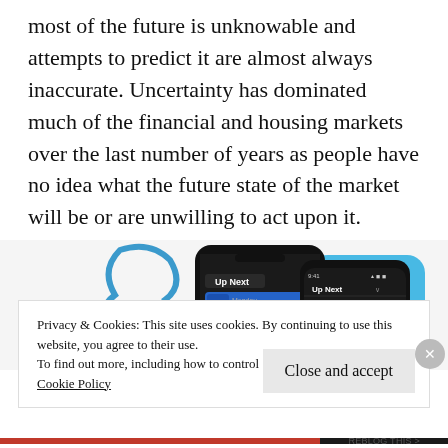most of the future is unknowable and attempts to predict it are almost always inaccurate. Uncertainty has dominated much of the financial and housing markets over the last number of years as people have no idea what the future state of the market will be or are unwilling to act upon it.
[Figure (screenshot): Screenshots of a podcast/media app showing 'Up Next' interface on two smartphone screens with a blue abstract logo shape in the background]
Privacy & Cookies: This site uses cookies. By continuing to use this website, you agree to their use.
To find out more, including how to control cookies, see here:
Cookie Policy